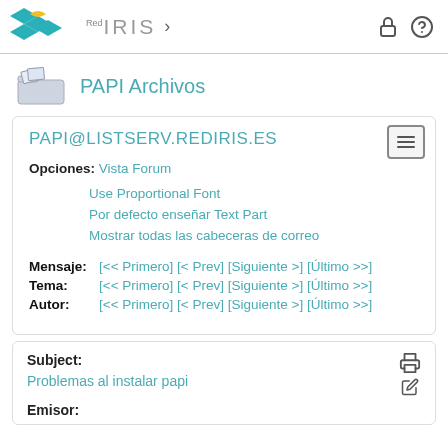[Figure (logo): RedIRIS logo with teal and yellow diamonds, and the text RedIRIS with a chevron]
PAPI Archivos
PAPI@LISTSERV.REDIRIS.ES
Opciones: Vista Forum
Use Proportional Font
Por defecto enseñar Text Part
Mostrar todas las cabeceras de correo
Mensaje: [<< Primero] [< Prev] [Siguiente >] [Último >>]
Tema: [<< Primero] [< Prev] [Siguiente >] [Último >>]
Autor: [<< Primero] [< Prev] [Siguiente >] [Último >>]
Subject:
Problemas al instalar papi
Emisor: